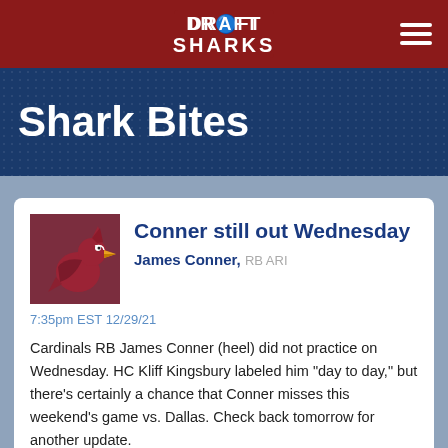Draft Sharks
Shark Bites
Conner still out Wednesday
James Conner, RB ARI
7:35pm EST 12/29/21
Cardinals RB James Conner (heel) did not practice on Wednesday. HC Kliff Kingsbury labeled him "day to day," but there's certainly a chance that Conner misses this weekend's game vs. Dallas. Check back tomorrow for another update.
View Conner's Projections » View all James Conner Shark Bites »